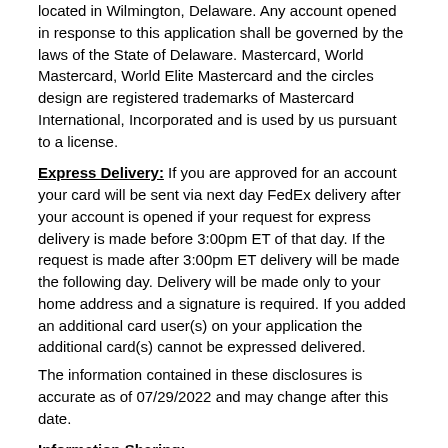located in Wilmington, Delaware. Any account opened in response to this application shall be governed by the laws of the State of Delaware. Mastercard, World Mastercard, World Elite Mastercard and the circles design are registered trademarks of Mastercard International, Incorporated and is used by us pursuant to a license.
Express Delivery: If you are approved for an account your card will be sent via next day FedEx delivery after your account is opened if your request for express delivery is made before 3:00pm ET of that day. If the request is made after 3:00pm ET delivery will be made the following day. Delivery will be made only to your home address and a signature is required. If you added an additional card user(s) on your application the additional card(s) cannot be expressed delivered.
The information contained in these disclosures is accurate as of 07/29/2022 and may change after this date.
Information Sharing:
Barclaycard's Privacy Policy is available online at www.BarclaycardUS.com. I agree that Barclaycard and Barnes & Noble may share information about me and my account to the extent needed to administer the Barnes & Noble Mastercard Program in conjunction with the Barnes & Noble Reward Program.